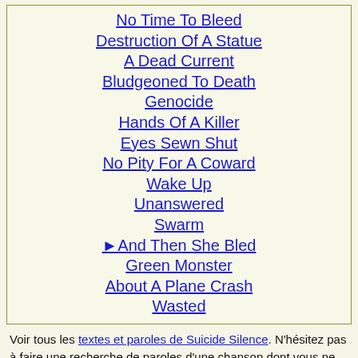No Time To Bleed
Destruction Of A Statue
A Dead Current
Bludgeoned To Death
Genocide
Hands Of A Killer
Eyes Sewn Shut
No Pity For A Coward
Wake Up
Unanswered
Swarm
►nd Then She Bled
Green Monster
About A Plane Crash
Wasted
Voir tous les textes et paroles de Suicide Silence. N’hésitez pas à faire une recherche de paroles d’une chanson dont vous ne connaissez qu’un morceau de texte avec notre moteur de paroles et chansons